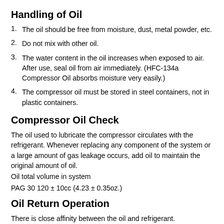Handling of Oil
The oil should be free from moisture, dust, metal powder, etc.
Do not mix with other oil.
The water content in the oil increases when exposed to air. After use, seal oil from air immediately. (HFC-134a Compressor Oil absorbs moisture very easily.)
The compressor oil must be stored in steel containers, not in plastic containers.
Compressor Oil Check
The oil used to lubricate the compressor circulates with the refrigerant. Whenever replacing any component of the system or a large amount of gas leakage occurs, add oil to maintain the original amount of oil.
Oil total volume in system
PAG 30 120 ± 10cc (4.23 ± 0.35oz.)
Oil Return Operation
There is close affinity between the oil and refrigerant.
During normal operation, part of the oil recirculates with the refrigerant in the system. When checking the amount of oil in the system, or replacing